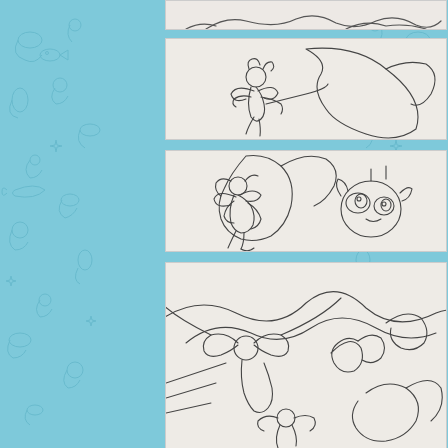[Figure (illustration): Pencil sketch (partially visible, top-cropped) of cartoon characters with flowing shapes]
[Figure (illustration): Pencil sketch of a small fairy-like character with wings riding or hanging onto a large curved shape, possibly a creature]
[Figure (illustration): Pencil sketch of a fairy-like girl character hugging a large curved horn or tail, with a small round creature with large eyes on the right]
[Figure (illustration): Pencil sketch (partially visible, bottom-cropped) of dynamic action scene with characters and flowing curved lines]